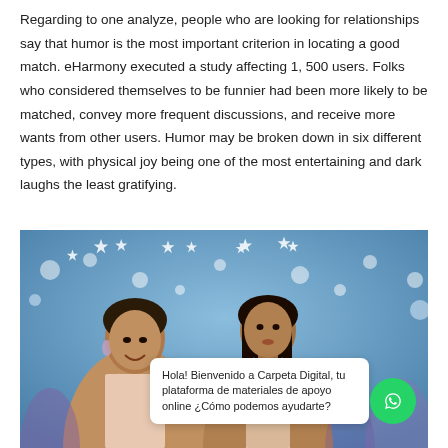Regarding to one analyze, people who are looking for relationships say that humor is the most important criterion in locating a good match. eHarmony executed a study affecting 1, 500 users. Folks who considered themselves to be funnier had been more likely to be matched, convey more frequent discussions, and receive more wants from other users. Humor may be broken down in six different types, with physical joy being one of the most entertaining and dark laughs the least gratifying.
[Figure (photo): Two women at a festive event with blue and white decorations/lights in the background. A WhatsApp chat bubble overlay reads: 'Hola! Bienvenido a Carpeta Digital, tu plataforma de materiales de apoyo online ¿Cómo podemos ayudarte?' with a WhatsApp green button icon.]